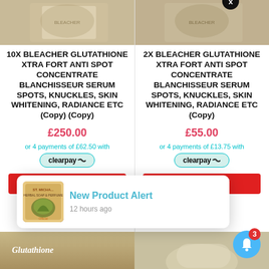[Figure (photo): Product image top left - partial view of Bleacher Glutathione product]
[Figure (photo): Product image top right - partial view of Bleacher Glutathione product]
10x BLEACHER GLUTATHIONE XTRA FORT ANTI SPOT CONCENTRATE BLANCHISSEUR SERUM SPOTS, KNUCKLES, SKIN WHITENING, RADIANCE ETC (Copy) (Copy)
2x BLEACHER GLUTATHIONE XTRA FORT ANTI SPOT CONCENTRATE BLANCHISSEUR SERUM SPOTS, KNUCKLES, SKIN WHITENING, RADIANCE ETC (Copy)
£250.00
£55.00
or 4 payments of £62.50 with
or 4 payments of £13.75 with
clearpay
clearpay
Add to cart
Add to cart
[Figure (photo): St. Michael Herbal Soap & Perfume product thumbnail in notification popup]
New Product Alert
12 hours ago
[Figure (photo): Bottom strip - Glutathione product partial image left]
[Figure (photo): Bottom strip - product partial image right]